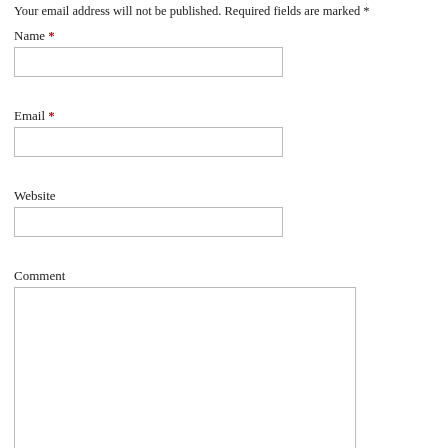Your email address will not be published. Required fields are marked *
Name *
Email *
Website
Comment